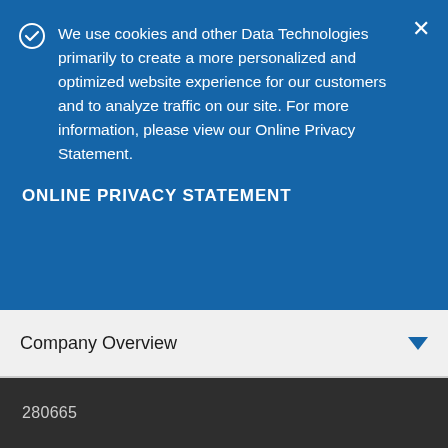We use cookies and other Data Technologies primarily to create a more personalized and optimized website experience for our customers and to analyze traffic on our site. For more information, please view our Online Privacy Statement.
ONLINE PRIVACY STATEMENT
Company Overview
280665